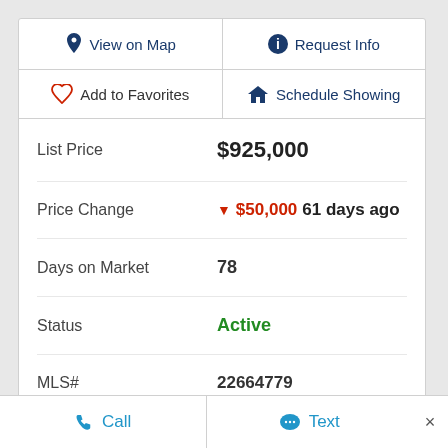View on Map
Request Info
Add to Favorites
Schedule Showing
| Field | Value |
| --- | --- |
| List Price | $925,000 |
| Price Change | ▼ $50,000 61 days ago |
| Days on Market | 78 |
| Status | Active |
| MLS# | 22664779 |
| Bedrooms | 2 |
Call
Text